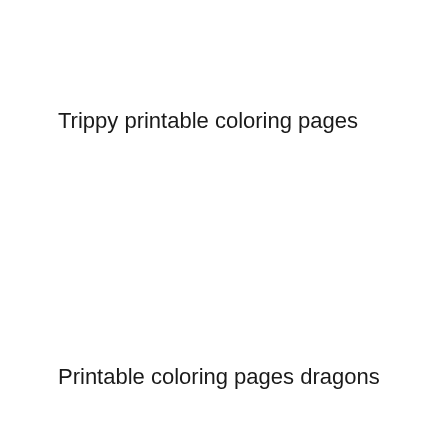Trippy printable coloring pages
Printable coloring pages dragons